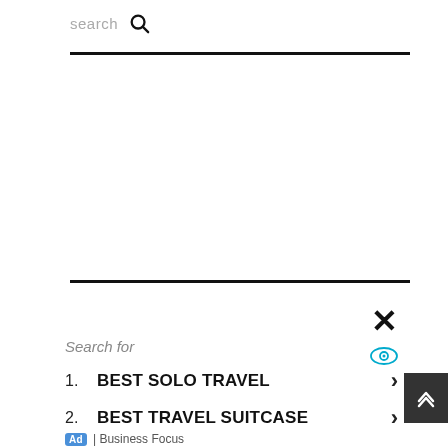search 🔍
Search for
1. BEST SOLO TRAVEL
2. BEST TRAVEL SUITCASE
Ad | Business Focus